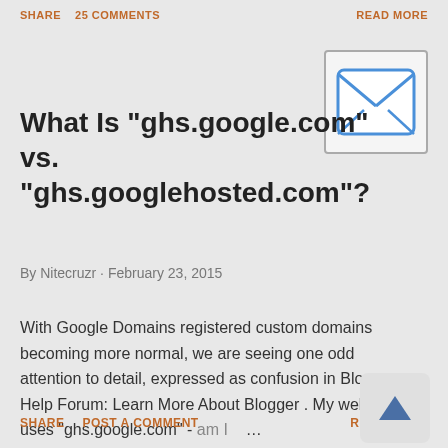SHARE   25 COMMENTS   READ MORE
[Figure (illustration): Email envelope icon — a square with rounded corners containing an X pattern representing a letter/envelope]
What Is "ghs.google.com" vs. "ghs.googlehosted.com"?
By Nitecruzr · February 23, 2015
With Google Domains registered custom domains becoming more normal, we are seeing one odd attention to detail, expressed as confusion in Blogger Help Forum: Learn More About Blogger . My website uses "ghs.google.com" - am I ...
SHARE   POST A COMMENT   READ MORE